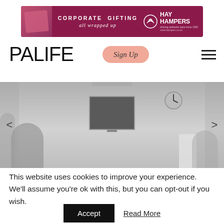[Figure (photo): Corporate Gifting advertisement banner for Hay Hampers, dark red/maroon background with text 'CORPORATE GIFTING all wrapped up' and Hay Hampers logo on the right.]
PALIFE
[Figure (other): Sign Up button with peach/salmon rounded rectangle background and script text 'Sign Up']
[Figure (photo): Hero image carousel showing a grayscale/muted photo of a home office scene with a video call on a monitor, a wall clock, a person on the left side, and a person with a lamp on the right side. Left and right carousel navigation arrows visible.]
This website uses cookies to improve your experience. We'll assume you're ok with this, but you can opt-out if you wish.
Accept   Read More